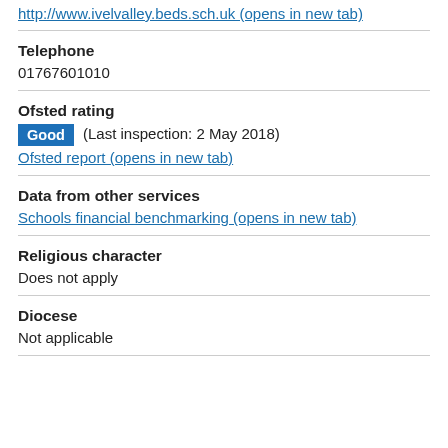http://www.ivelvalley.beds.sch.uk (opens in new tab)
Telephone
01767601010
Ofsted rating
Good (Last inspection: 2 May 2018)
Ofsted report (opens in new tab)
Data from other services
Schools financial benchmarking (opens in new tab)
Religious character
Does not apply
Diocese
Not applicable